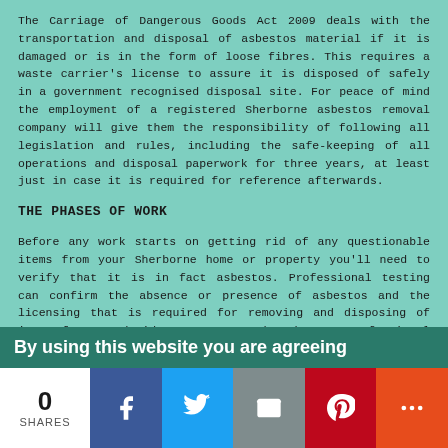The Carriage of Dangerous Goods Act 2009 deals with the transportation and disposal of asbestos material if it is damaged or is in the form of loose fibres. This requires a waste carrier's license to assure it is disposed of safely in a government recognised disposal site. For peace of mind the employment of a registered Sherborne asbestos removal company will give them the responsibility of following all legislation and rules, including the safe-keeping of all operations and disposal paperwork for three years, at least just in case it is required for reference afterwards.
THE PHASES OF WORK
Before any work starts on getting rid of any questionable items from your Sherborne home or property you'll need to verify that it is in fact asbestos. Professional testing can confirm the absence or presence of asbestos and the licensing that is required for removing and disposing of it. If you decide not to undertake a professional examination on an older home, you must presume there is asbestos present somewhere and implement all of the necessary precautions.
A professional asbestos surveyor will undertake all sample-
By using this website you are agreeing